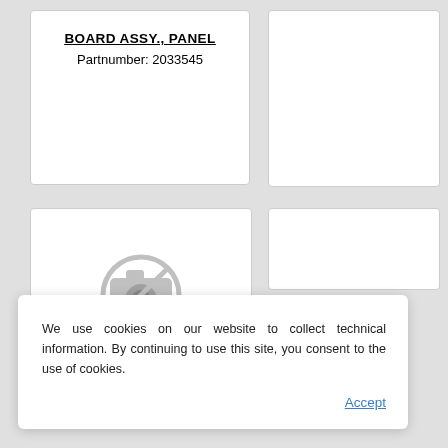BOARD ASSY., PANEL
Partnumber: 2033545
[Figure (other): No-photo placeholder icon (camera with prohibition circle)]
We use cookies on our website to collect technical information. By continuing to use this site, you consent to the use of cookies.
Accept